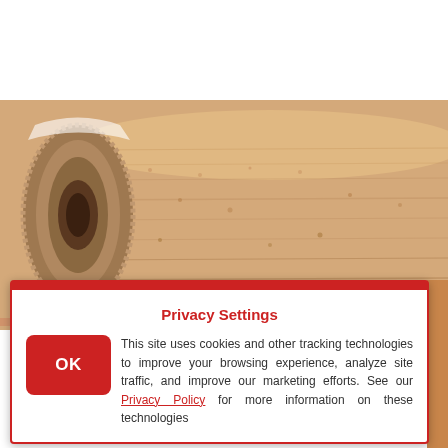[Figure (photo): Close-up photo of a rolled beige/tan terry cloth or fleece blanket/towel, showing the textured cylindrical roll with a stitched edge visible on the left side. The background is a matching tan/beige color.]
Privacy Settings
This site uses cookies and other tracking technologies to improve your browsing experience, analyze site traffic, and improve our marketing efforts. See our Privacy Policy for more information on these technologies